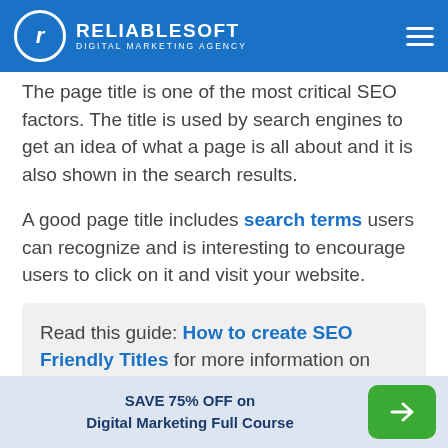RELIABLESOFT DIGITAL MARKETING AGENCY
The page title is one of the most critical SEO factors. The title is used by search engines to get an idea of what a page is all about and it is also shown in the search results.
A good page title includes search terms users can recognize and is interesting to encourage users to click on it and visit your website.
Read this guide: How to create SEO Friendly Titles for more information on how to SEO
SAVE 75% OFF on Digital Marketing Full Course